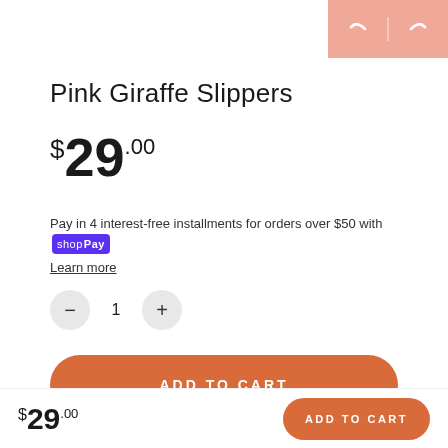[Figure (other): Navigation back/forward arrow buttons on salmon/peach pink background]
Pink Giraffe Slippers
$29.00
Pay in 4 interest-free installments for orders over $50 with shop Pay Learn more
1 (quantity selector with minus and plus buttons)
ADD TO CART
$29.00  ADD TO CART